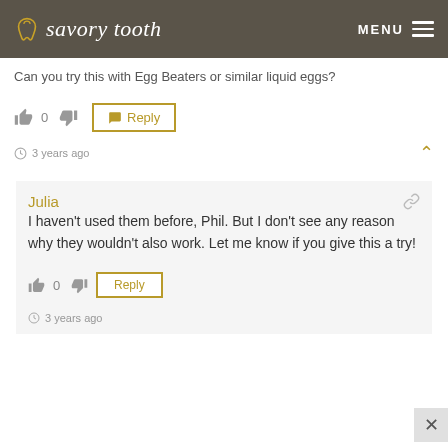savory tooth  MENU
Can you try this with Egg Beaters or similar liquid eggs?
👍 0 👎  Reply
3 years ago
Julia
I haven't used them before, Phil. But I don't see any reason why they wouldn't also work. Let me know if you give this a try!
👍 0 👎  Reply
3 years ago